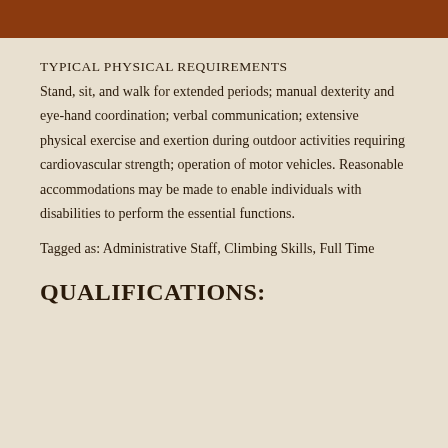TYPICAL PHYSICAL REQUIREMENTS
Stand, sit, and walk for extended periods; manual dexterity and eye-hand coordination; verbal communication; extensive physical exercise and exertion during outdoor activities requiring cardiovascular strength; operation of motor vehicles. Reasonable accommodations may be made to enable individuals with disabilities to perform the essential functions.
Tagged as: Administrative Staff, Climbing Skills, Full Time
QUALIFICATIONS: